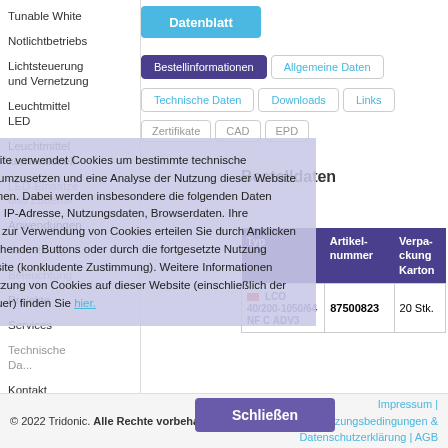Tunable White
Notlichtbetriebs
Lichtsteuerung und Vernetzung
Leuchtmittel LED
Leuchtmittel konventionell
LED-Einsätze und Zubehör
Anwendungen
Vernetzung
Beleuchtung
Projekte
Services
Technische Daten
Kontakt
[Figure (screenshot): Datenblatt button (cyan/blue)]
Bestellinformationen | Allgemeine Daten | Technische Daten | Downloads | Links | Zertifikate | CAD | EPD
Diese Website verwendet Cookies um bestimmte technische Funktionen umzusetzen und eine Analyse der Nutzung dieser Website zu ermöglichen. Dabei werden insbesondere die folgenden Daten gespeichert: IP-Adresse, Nutzungsdaten, Browserdaten. Ihre Einwilligung zur Verwendung von Cookies erteilen Sie durch Anklicken des nachstehenden Buttons oder durch die fortgesetzte Nutzung dieser Website (konkludente Zustimmung). Weitere Informationen über die Nutzung von Cookies auf dieser Website (einschließlich der Speicherdauer) finden Sie hier.
Bestelldaten
| Typ | Artikelnummer | Verpackung Karton |
| --- | --- | --- |
| LCO 40/200-1050/64 NF C ADV3 | 87500823 | 20 Stk. |
© 2022 Tridonic. Alle Rechte vorbehalten. | Impressum | Nutzungsbedingungen & Datenschutzerklärung | AGB